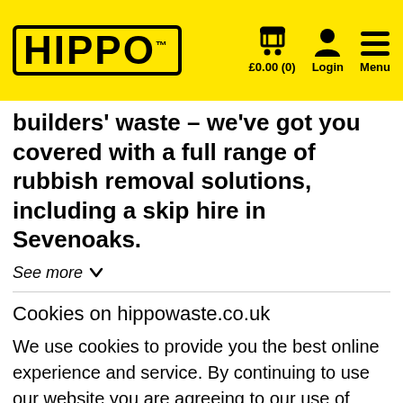HIPPO™  £0.00 (0)  Login  Menu
builders' waste – we've got you covered with a full range of rubbish removal solutions, including a skip hire in Sevenoaks.
See more
Cookies on hippowaste.co.uk
We use cookies to provide you the best online experience and service. By continuing to use our website you are agreeing to our use of cookies.
Continue   Find out more